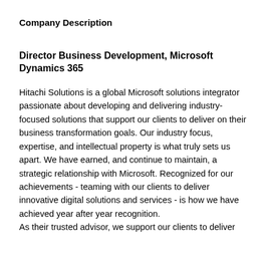Company Description
Director Business Development, Microsoft Dynamics 365
Hitachi Solutions is a global Microsoft solutions integrator passionate about developing and delivering industry-focused solutions that support our clients to deliver on their business transformation goals. Our industry focus, expertise, and intellectual property is what truly sets us apart. We have earned, and continue to maintain, a strategic relationship with Microsoft. Recognized for our achievements - teaming with our clients to deliver innovative digital solutions and services - is how we have achieved year after year recognition.
As their trusted advisor, we support our clients to deliver